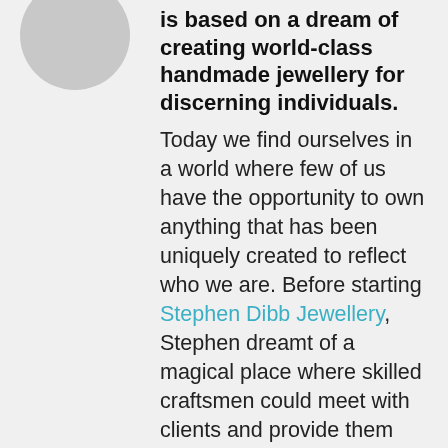[Figure (illustration): Circular avatar placeholder in grey]
is based on a dream of creating world-class handmade jewellery for discerning individuals. Today we find ourselves in a world where few of us have the opportunity to own anything that has been uniquely created to reflect who we are. Before starting Stephen Dibb Jewellery, Stephen dreamt of a magical place where skilled craftsmen could meet with clients and provide them with this rare opportunity. After winning the prestigious